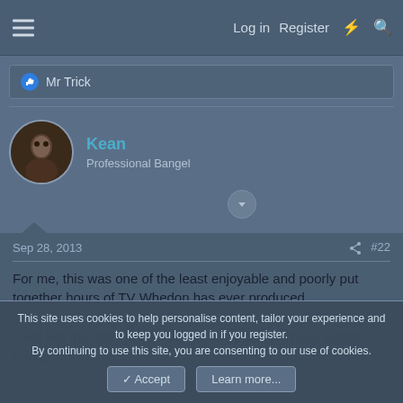Log in   Register
Mr Trick
Kean
Professional Bangel
Sep 28, 2013   #22
For me, this was one of the least enjoyable and poorly put together hours of TV Whedon has ever produced.

I feel like the story jumps all over the place and was edited poorly.
This site uses cookies to help personalise content, tailor your experience and to keep you logged in if you register.
By continuing to use this site, you are consenting to our use of cookies.
✓ Accept   Learn more...